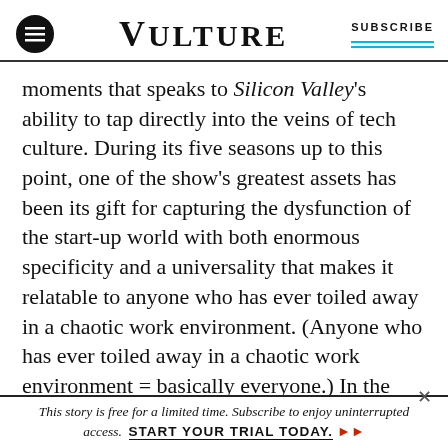VULTURE | SUBSCRIBE
moments that speaks to Silicon Valley's ability to tap directly into the veins of tech culture. During its five seasons up to this point, one of the show's greatest assets has been its gift for capturing the dysfunction of the start-up world with both enormous specificity and a universality that makes it relatable to anyone who has ever toiled away in a chaotic work environment. (Anyone who has ever toiled away in a chaotic work environment = basically everyone.) In the first three episodes of season six provided for review by HBO, Silicon Valley continues to succeed
This story is free for a limited time. Subscribe to enjoy uninterrupted access. START YOUR TRIAL TODAY.